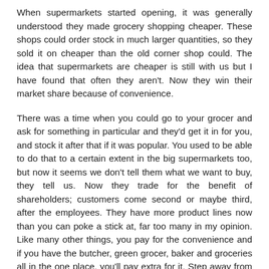When supermarkets started opening, it was generally understood they made grocery shopping cheaper. These shops could order stock in much larger quantities, so they sold it on cheaper than the old corner shop could. The idea that supermarkets are cheaper is still with us but I have found that often they aren't. Now they win their market share because of convenience.
There was a time when you could go to your grocer and ask for something in particular and they'd get it in for you, and stock it after that if it was popular. You used to be able to do that to a certain extent in the big supermarkets too, but now it seems we don't tell them what we want to buy, they tell us. Now they trade for the benefit of shareholders; customers come second or maybe third, after the employees. They have more product lines now than you can poke a stick at, far too many in my opinion. Like many other things, you pay for the convenience and if you have the butcher, green grocer, baker and groceries all in the one place, you'll pay extra for it. Step away from that convenience and you'll reap the rewards.